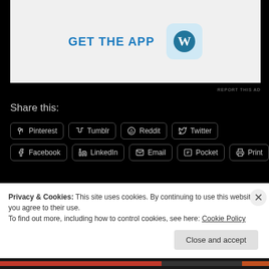[Figure (screenshot): Advertisement banner with 'GET THE APP' text and WordPress logo]
REPORT THIS AD
Share this:
Pinterest
Tumblr
Reddit
Twitter
Facebook
LinkedIn
Email
Pocket
Print
Like
Be the first to like this.
Privacy & Cookies: This site uses cookies. By continuing to use this website, you agree to their use. To find out more, including how to control cookies, see here: Cookie Policy
Close and accept